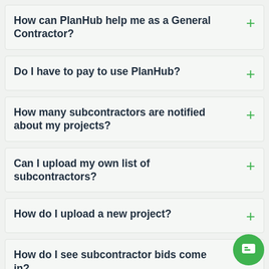How can PlanHub help me as a General Contractor?
Do I have to pay to use PlanHub?
How many subcontractors are notified about my projects?
Can I upload my own list of subcontractors?
How do I upload a new project?
How do I see subcontractor bids come in?